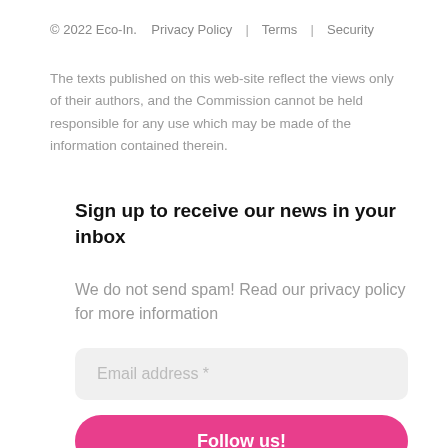© 2022 Eco-In.   Privacy Policy  |  Terms  |  Security
The texts published on this web-site reflect the views only of their authors, and the Commission cannot be held responsible for any use which may be made of the information contained therein.
Sign up to receive our news in your inbox
We do not send spam! Read our privacy policy for more information
Email address *
Follow us!